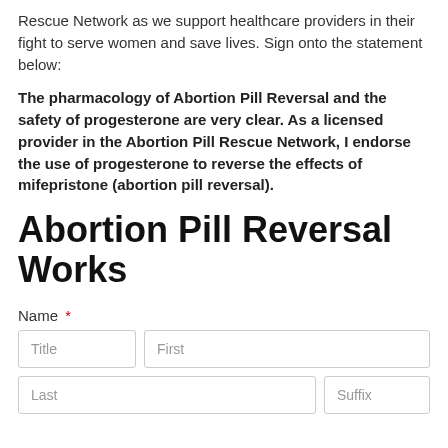Rescue Network as we support healthcare providers in their fight to serve women and save lives. Sign onto the statement below:
The pharmacology of Abortion Pill Reversal and the safety of progesterone are very clear. As a licensed provider in the Abortion Pill Rescue Network, I endorse the use of progesterone to reverse the effects of mifepristone (abortion pill reversal).
Abortion Pill Reversal Works
Name *